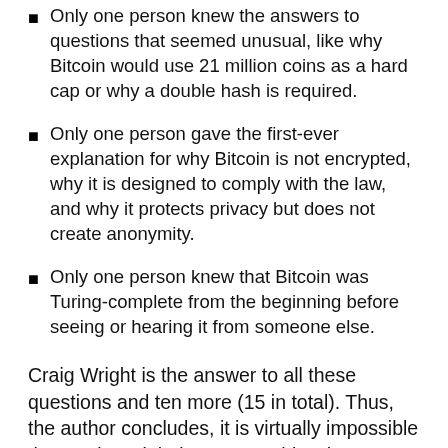Only one person knew the answers to questions that seemed unusual, like why Bitcoin would use 21 million coins as a hard cap or why a double hash is required.
Only one person gave the first-ever explanation for why Bitcoin is not encrypted, why it is designed to comply with the law, and why it protects privacy but does not create anonymity.
Only one person knew that Bitcoin was Turing-complete from the beginning before seeing or hearing it from someone else.
Craig Wright is the answer to all these questions and ten more (15 in total). Thus, the author concludes, it is virtually impossible that Craig Wright is not Satoshi Nakamoto. Of course, without Craig Wright using the wallet